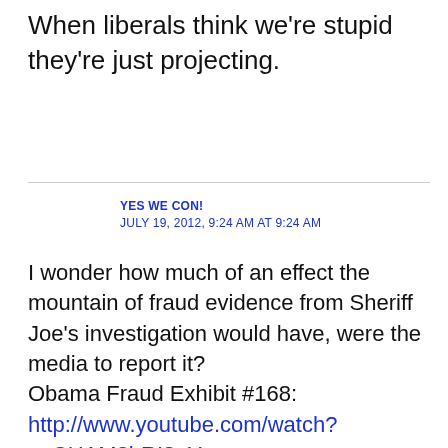When liberals think we're stupid they're just projecting.
YES WE CON!
JULY 19, 2012, 9:24 AM AT 9:24 AM
I wonder how much of an effect the mountain of fraud evidence from Sheriff Joe's investigation would have, were the media to report it?
Obama Fraud Exhibit #168:
http://www.youtube.com/watch?v=CHAM3hRI8_Y